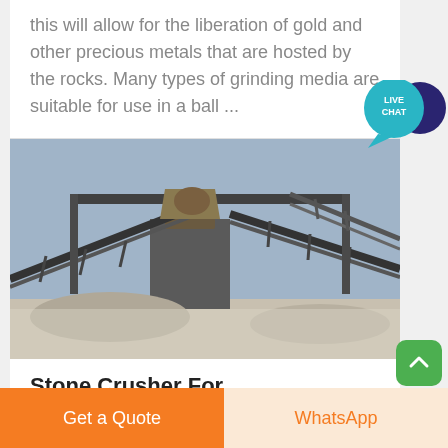this will allow for the liberation of gold and other precious metals that are hosted by the rocks. Many types of grinding media are suitable for use in a ball ...
[Figure (photo): Industrial stone crusher machinery with conveyor belts and large metal framework at a mining or quarrying site]
Stone Crusher For
[Figure (illustration): Live Chat speech bubble icon with teal circle and dark blue circle]
Get a Quote
WhatsApp